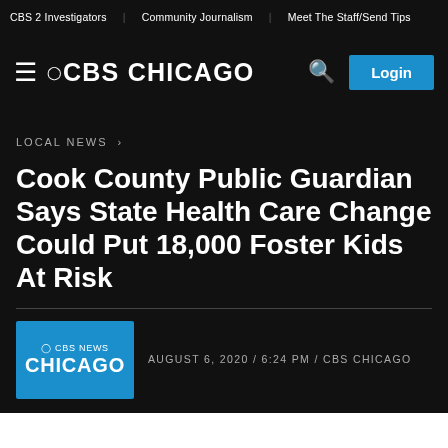CBS 2 Investigators | Community Journalism | Meet The Staff/Send Tips
[Figure (logo): CBS Chicago navigation header with hamburger menu, CBS Chicago logo, search icon, and Login button]
LOCAL NEWS ›
Cook County Public Guardian Says State Health Care Change Could Put 18,000 Foster Kids At Risk
AUGUST 6, 2020 / 6:24 PM / CBS CHICAGO
[Figure (logo): CBS News Chicago blue logo box]